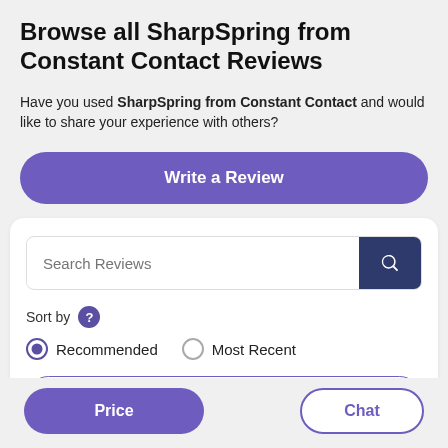Browse all SharpSpring from Constant Contact Reviews
Have you used SharpSpring from Constant Contact and would like to share your experience with others?
Write a Review
[Figure (screenshot): Search and filter UI card with a Search Reviews input bar, Sort by options (Recommended selected, Most Recent), and a partially visible Filters button]
Price
Chat